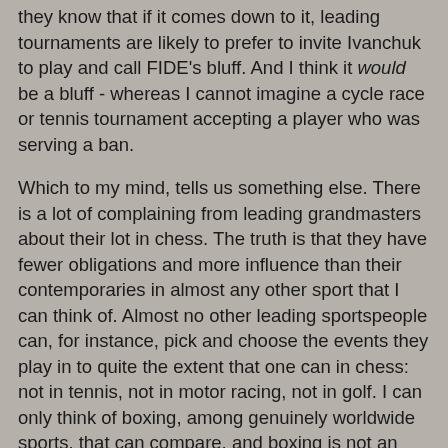they know that if it comes down to it, leading tournaments are likely to prefer to invite Ivanchuk to play and call FIDE's bluff. And I think it would be a bluff - whereas I cannot imagine a cycle race or tennis tournament accepting a player who was serving a ban.
Which to my mind, tells us something else. There is a lot of complaining from leading grandmasters about their lot in chess. The truth is that they have fewer obligations and more influence than their contemporaries in almost any other sport that I can think of. Almost no other leading sportspeople can, for instance, pick and choose the events they play in to quite the extent that one can in chess: not in tennis, not in motor racing, not in golf. I can only think of boxing, among genuinely worldwide sports, that can compare, and boxing is not an example any helthy sport should seek to imitate.
By and large, in chess, it's the top players who have the clout. To some extent that's a good thing - but it's not entirely a good thing, especially not if it makes them bigger than the rules. And their constant tiresome complaining that the truth is otherwise - that's not a good thing at all.